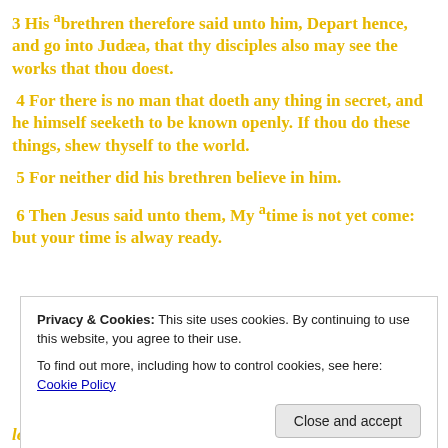3 His a brethren therefore said unto him, Depart hence, and go into Judaea, that thy disciples also may see the works that thou doest.
4 For there is no man that doeth any thing in secret, and he himself seeketh to be known openly. If thou do these things, shew thyself to the world.
5 For neither did his brethren believe in him.
6 Then Jesus said unto them, My a time is not yet come: but your time is alway ready.
Privacy & Cookies: This site uses cookies. By continuing to use this website, you agree to their use.
To find out more, including how to control cookies, see here: Cookie Policy
Close and accept
least, for my time is not yet full come.